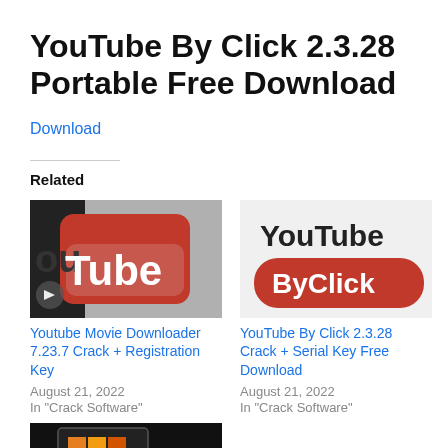YouTube By Click 2.3.28 Portable Free Download
Download
Related
[Figure (photo): YouTube logo close-up, red rounded square with white text 'YouTube']
Youtube Movie Downloader 7.23.7 Crack + Registration Key
August 21, 2022
In "Crack Software"
[Figure (logo): YouTube By Click logo — dark text 'YouTube' above red pill shape with white 'ByClick' text]
YouTube By Click 2.3.28 Crack + Serial Key Free Download
August 21, 2022
In "Crack Software"
[Figure (screenshot): Dark screenshot thumbnail, partially visible, appears to show a Windows-style application or tile UI]